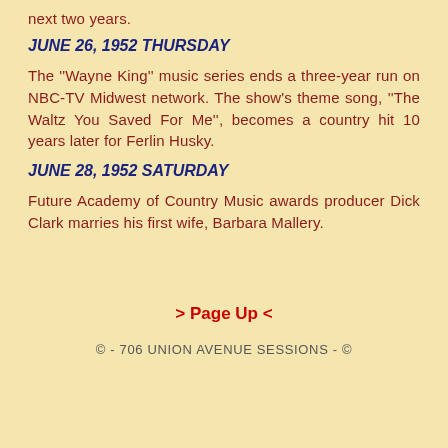next two years.
JUNE 26, 1952 THURSDAY
The ''Wayne King'' music series ends a three-year run on NBC-TV Midwest network. The show's theme song, ''The Waltz You Saved For Me'', becomes a country hit 10 years later for Ferlin Husky.
JUNE 28, 1952 SATURDAY
Future Academy of Country Music awards producer Dick Clark marries his first wife, Barbara Mallery.
> Page Up <
© - 706 UNION AVENUE SESSIONS - ©